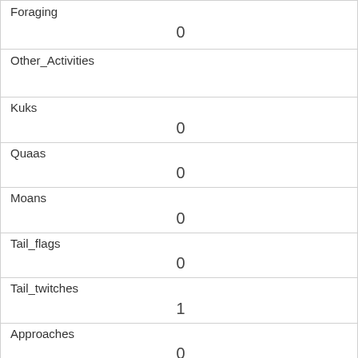| Foraging | 0 |
| Other_Activities |  |
| Kuks | 0 |
| Quaas | 0 |
| Moans | 0 |
| Tail_flags | 0 |
| Tail_twitches | 1 |
| Approaches | 0 |
| Indifferent | 0 |
| Runs_from | 1 |
| Other_Interactions |  |